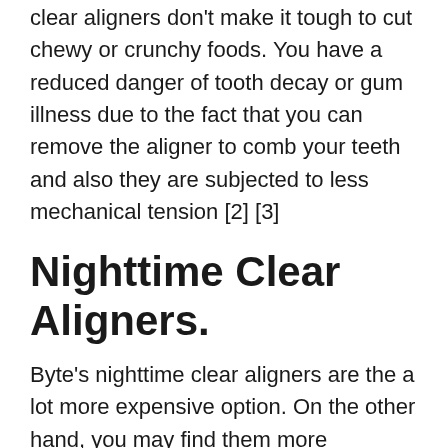clear aligners don't make it tough to cut chewy or crunchy foods. You have a reduced danger of tooth decay or gum illness due to the fact that you can remove the aligner to comb your teeth and also they are subjected to less mechanical tension [2] [3]
Nighttime Clear Aligners.
Byte's nighttime clear aligners are the a lot more expensive option. On the other hand, you may find them more convenient as they are made to just be used for 10 hours during the night, mostly while you're sleeping. Your therapy duration will additionally be much longer when selecting Byte During the night, with at least 5 to six months instead of the typical three-month minimum.